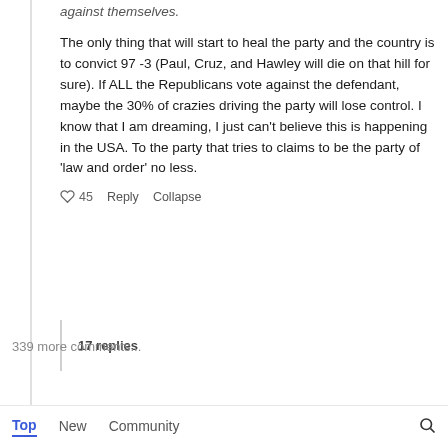against themselves.
The only thing that will start to heal the party and the country is to convict 97 -3 (Paul, Cruz, and Hawley will die on that hill for sure). If ALL the Republicans vote against the defendant, maybe the 30% of crazies driving the party will lose control. I know that I am dreaming, I just can't believe this is happening in the USA. To the party that tries to claims to be the party of 'law and order' no less.
♡ 45   Reply   Collapse
17 replies
339 more comments...
Top   New   Community